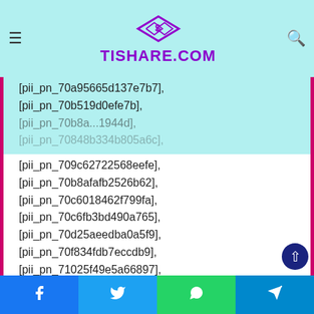[Figure (logo): Tishare.com website logo with purple diamond/arrow icon and site name in purple]
[pii_pn_70a95665d137e7b7],
[pii_pn_70b519d0efe7b],
[pii_pn_70b8afafb2526b62],
[pii_pn_70c6018462f799fa],
[pii_pn_70c6fb3bd490a765],
[pii_pn_70d25aeedba0a5f9],
[pii_pn_70f834fdb7eccdb9],
[pii_pn_71025f49e5a66897],
[pii_pn_71172f6ba31c6429],
[pii_pn_712d13120a82b147],
[pii_pn_713e707ad9f08ff8],
[pii_pn_71461820b6d2cc5d],
[pii_pn_71770b305b8022268127],